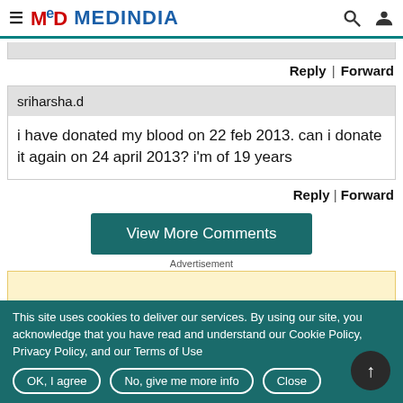MEDINDIA
Reply | Forward
sriharsha.d
i have donated my blood on 22 feb 2013. can i donate it again on 24 april 2013? i'm of 19 years
Reply | Forward
View More Comments
Advertisement
This site uses cookies to deliver our services. By using our site, you acknowledge that you have read and understand our Cookie Policy, Privacy Policy, and our Terms of Use
OK, I agree
No, give me more info
Close